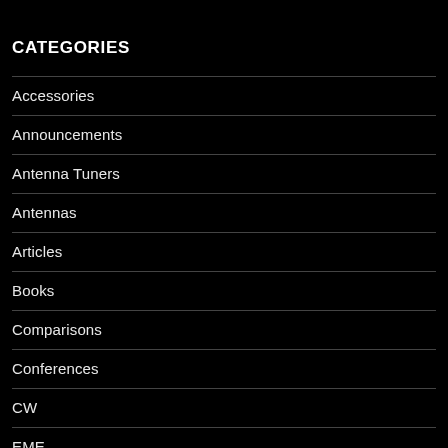CATEGORIES
Accessories
Announcements
Antenna Tuners
Antennas
Articles
Books
Comparisons
Conferences
CW
EME